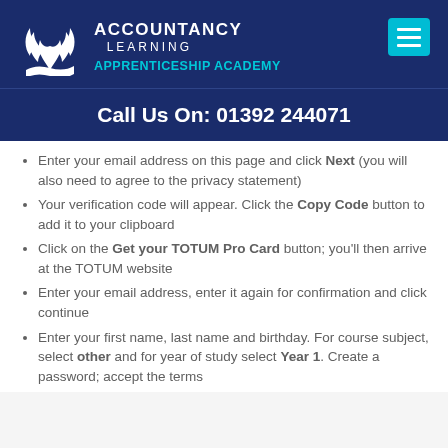[Figure (logo): Accountancy Learning Apprenticeship Academy logo with white leaf/flame motif on dark blue background]
Call Us On: 01392 244071
Enter your email address on this page and click Next (you will also need to agree to the privacy statement)
Your verification code will appear. Click the Copy Code button to add it to your clipboard
Click on the Get your TOTUM Pro Card button; you'll then arrive at the TOTUM website
Enter your email address, enter it again for confirmation and click continue
Enter your first name, last name and birthday. For course subject, select other and for year of study select Year 1. Create a password; accept the terms